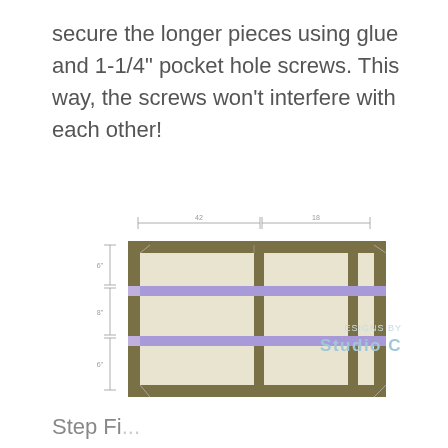secure the longer pieces using glue and 1-1/4" pocket hole screws. This way, the screws won't interfere with each other!
[Figure (engineering-diagram): Front elevation diagram of a 3x2 cubby shelf unit showing two horizontal shelf boards highlighted in blue/purple. Dimension lines indicate compartment widths at top and height measurements on the left side. The shelf has 3 columns and 3 rows of open compartments.]
Step Fi...